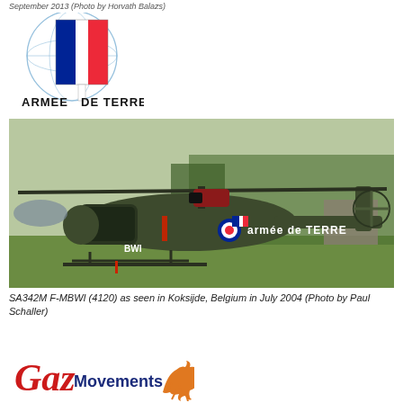September 2013 (Photo by Horvath Balazs)
[Figure (logo): Armée de Terre logo: French tricolor flag with globe outline, text 'ARMEE DE TERRE' in black bold]
[Figure (photo): SA342M F-MBWI (4120) helicopter in olive green with 'armée de TERRE' markings and French roundel, on grass airfield in Koksijde, Belgium]
SA342M F-MBWI (4120) as seen in Koksijde, Belgium in July 2004 (Photo by Paul Schaller)
[Figure (logo): GazMovements logo with stylized 'Gaz' in red script and 'Movements' in dark blue, with a leaping gazelle silhouette in orange]